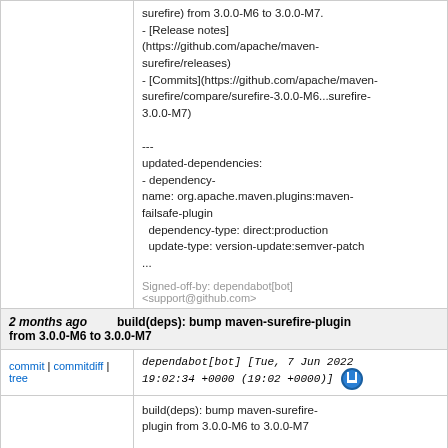surefire) from 3.0.0-M6 to 3.0.0-M7.
- [Release notes](https://github.com/apache/maven-surefire/releases)
- [Commits](https://github.com/apache/maven-surefire/compare/surefire-3.0.0-M6...surefire-3.0.0-M7)

---
updated-dependencies:
- dependency-name: org.apache.maven.plugins:maven-failsafe-plugin
  dependency-type: direct:production
  update-type: version-update:semver-patch
...

Signed-off-by: dependabot[bot] <support@github.com>
2 months ago   build(deps): bump maven-surefire-plugin from 3.0.0-M6 to 3.0.0-M7
commit | commitdiff | tree   dependabot[bot] [Tue, 7 Jun 2022 19:02:34 +0000 (19:02 +0000)]
build(deps): bump maven-surefire-plugin from 3.0.0-M6 to 3.0.0-M7

Bumps [maven-surefire-plugin](https://github.com/apache/maven-...